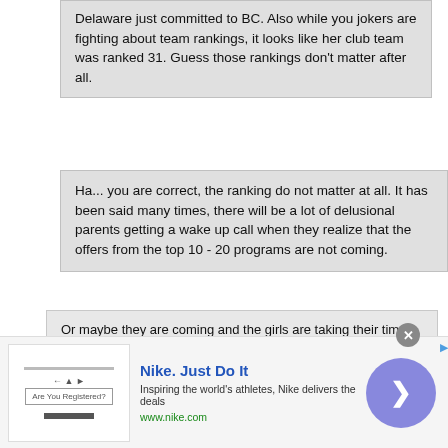Delaware just committed to BC. Also while you jokers are fighting about team rankings, it looks like her club team was ranked 31. Guess those rankings don't matter after all.
Ha... you are correct, the ranking do not matter at all. It has been said many times, there will be a lot of delusional parents getting a wake up call when they realize that the offers from the top 10 - 20 programs are not coming.
Or maybe they are coming and the girls are taking their time before making an all important decision? You will always see a couple girls from low ranking programs commit to great schools. But the top half of the rosters of YJ, TG, Jesters, and Legacy will all commit to big time schools. Give it a month.
[Figure (other): Nike advertisement banner with logo area, brand name 'Nike. Just Do It', tagline 'Inspiring the world's athletes, Nike delivers the deals', URL 'www.nike.com', close button, and circular arrow button]